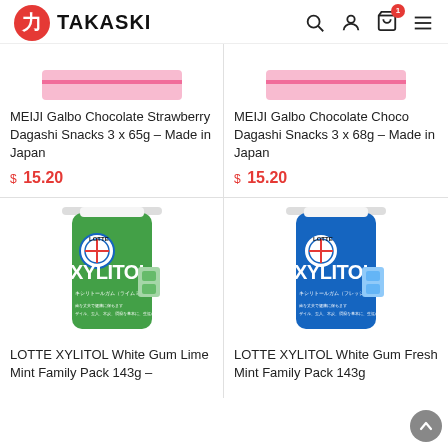TAKASKI
[Figure (screenshot): MEIJI Galbo Chocolate Strawberry Dagashi Snacks product image (cropped, top portion)]
MEIJI Galbo Chocolate Strawberry Dagashi Snacks 3 x 65g – Made in Japan
$ 15.20
[Figure (screenshot): MEIJI Galbo Chocolate Choco Dagashi Snacks product image (cropped, top portion)]
MEIJI Galbo Chocolate Choco Dagashi Snacks 3 x 68g – Made in Japan
$ 15.20
[Figure (photo): LOTTE XYLITOL White Gum Lime Mint Family Pack 143g – green label bottle]
LOTTE XYLITOL White Gum Lime Mint Family Pack 143g –
[Figure (photo): LOTTE XYLITOL White Gum Fresh Mint Family Pack 143g – blue label bottle]
LOTTE XYLITOL White Gum Fresh Mint Family Pack 143g